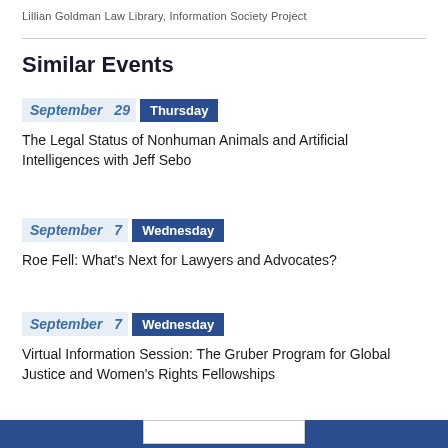Lillian Goldman Law Library, Information Society Project
Similar Events
September 29 Thursday
The Legal Status of Nonhuman Animals and Artificial Intelligences with Jeff Sebo
September 7 Wednesday
Roe Fell: What's Next for Lawyers and Advocates?
September 7 Wednesday
Virtual Information Session: The Gruber Program for Global Justice and Women's Rights Fellowships